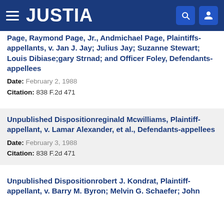JUSTIA
Page, Raymond Page, Jr., Andmichael Page, Plaintiffs-appellants, v. Jan J. Jay; Julius Jay; Suzanne Stewart; Louis Dibiase;gary Strnad; and Officer Foley, Defendants-appellees
Date: February 2, 1988
Citation: 838 F.2d 471
Unpublished Dispositionreginald Mcwilliams, Plaintiff-appellant, v. Lamar Alexander, et al., Defendants-appellees
Date: February 3, 1988
Citation: 838 F.2d 471
Unpublished Dispositionrobert J. Kondrat, Plaintiff-appellant, v. Barry M. Byron; Melvin G. Schaefer; John